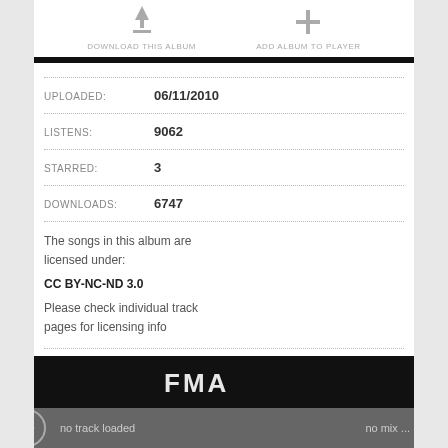[Figure (other): Download this album button with downward arrow icon and label]
[Figure (other): Add album to player button with plus icon and label]
UPLOADED: 06/11/2010
LISTENS: 9062
STARRED: 3
DOWNLOADS: 6747
The songs in this album are licensed under:
CC BY-NC-ND 3.0
Please check individual track pages for licensing info
no track loaded    no mix ...